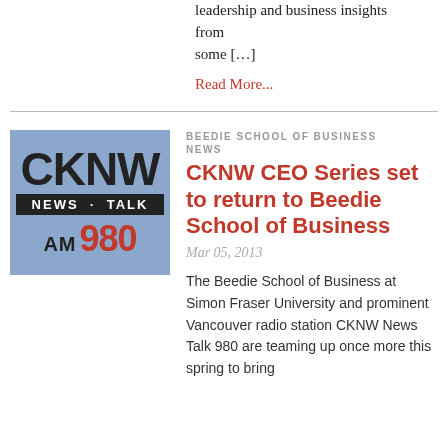leadership and business insights from some […]
Read More...
[Figure (logo): CKNW News Talk AM 980 radio station logo on blue background]
BEEDIE SCHOOL OF BUSINESS NEWS
CKNW CEO Series set to return to Beedie School of Business
Mar 05, 2013
The Beedie School of Business at Simon Fraser University and prominent Vancouver radio station CKNW News Talk 980 are teaming up once more this spring to bring